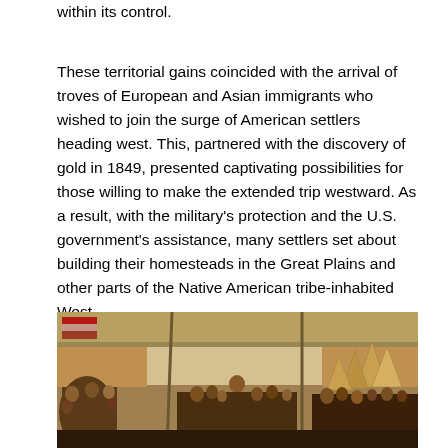within its control.
These territorial gains coincided with the arrival of troves of European and Asian immigrants who wished to join the surge of American settlers heading west. This, partnered with the discovery of gold in 1849, presented captivating possibilities for those willing to make the extended trip westward. As a result, with the military's protection and the U.S. government's assistance, many settlers set about building their homesteads in the Great Plains and other parts of the Native American tribe-inhabited West.
[Figure (photo): A historical painting depicting a gathering of Native Americans and European settlers inside a large tent or pavilion, with tipis visible in the background. A central standing figure appears to be addressing the assembled crowd.]